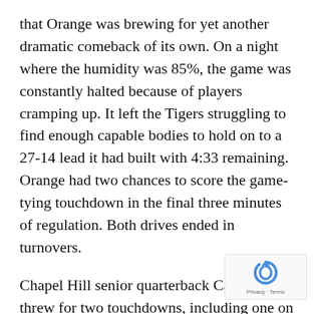that Orange was brewing for yet another dramatic comeback of its own. On a night where the humidity was 85%, the game was constantly halted because of players cramping up. It left the Tigers struggling to find enough capable bodies to hold on to a 27-14 lead it had built with 4:33 remaining. Orange had two chances to score the game-tying touchdown in the final three minutes of regulation. Both drives ended in turnovers.
Chapel Hill senior quarterback Caleb Kelly threw for two touchdowns, including one on the final play of the first half that vaulted the Tigers into the lead permanently. Kelly finished 9-of-18 for 140 yards and two touchdowns.
“It’s a good feeling,” Marsh said. “But I would the first win in the stadium was more of a statement. This win…we got out of here held
[Figure (logo): reCAPTCHA logo with Privacy and Terms text]